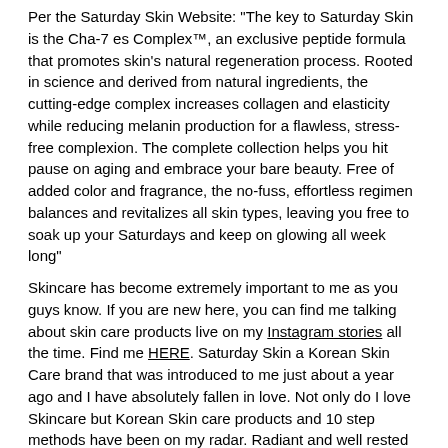Per the Saturday Skin Website: "The key to Saturday Skin is the Cha-7 es Complex™, an exclusive peptide formula that promotes skin's natural regeneration process. Rooted in science and derived from natural ingredients, the cutting-edge complex increases collagen and elasticity while reducing melanin production for a flawless, stress-free complexion. The complete collection helps you hit pause on aging and embrace your bare beauty. Free of added color and fragrance, the no-fuss, effortless regimen balances and revitalizes all skin types, leaving you free to soak up your Saturdays and keep on glowing all week long"
Skincare has become extremely important to me as you guys know. If you are new here, you can find me talking about skin care products live on my Instagram stories all the time. Find me HERE. Saturday Skin a Korean Skin Care brand that was introduced to me just about a year ago and I have absolutely fallen in love. Not only do I love Skincare but Korean Skin care products and 10 step methods have been on my radar. Radiant and well rested skin is what we all want and that is exactly what Saturday Skin products give you.  Today you will get a break down of the products I have tried, along with my thoughts and my top 3!